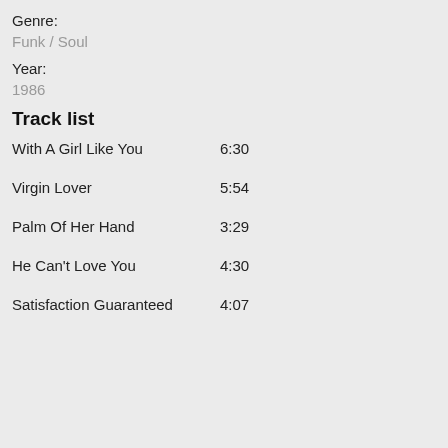Genre:
Funk / Soul
Year:
1986
Track list
With A Girl Like You    6:30
Virgin Lover    5:54
Palm Of Her Hand    3:29
He Can't Love You    4:30
Satisfaction Guaranteed    4:07